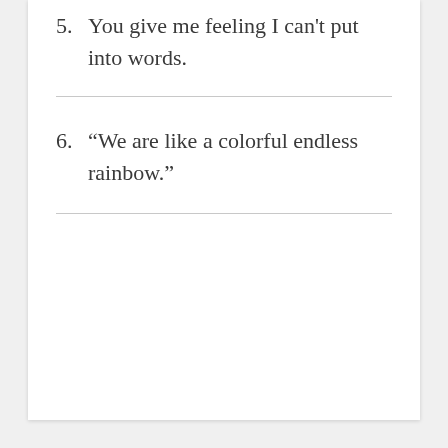5.  You give me feeling I can't put into words.
6.  “We are like a colorful endless rainbow.”